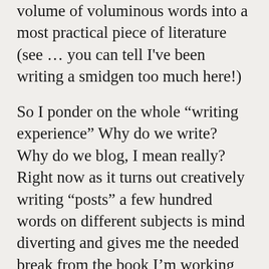volume of voluminous words into a most practical piece of literature (see … you can tell I've been writing a smidgen too much here!)
So I ponder on the whole “writing experience” Why do we write? Why do we blog, I mean really? Right now as it turns out creatively writing “posts” a few hundred words on different subjects is mind diverting and gives me the needed break from the book I’m working madly to complete (passed the deadlines already, twice!) Why you ask do I not just devote all my writing towards the book? Well simply because …
… my muse won’t let me. Won’t cooperate at all, going hither and thither, even yon … just won’t settle anywhere that I want it to. Actually I’m